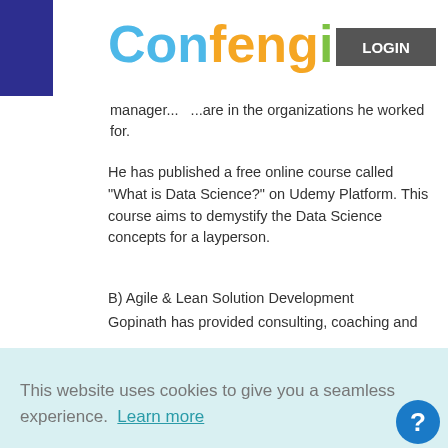Confengine LOGIN
manager... ...are in the organizations he worked for.
He has published a free online course called "What is Data Science?" on Udemy Platform. This course aims to demystify the Data Science concepts for a layperson.
B) Agile & Lean Solution Development
Gopinath has provided consulting, coaching and
This website uses cookies to give you a seamless experience.  Learn more
Got it!
He has been a speaker at Agile India Conference